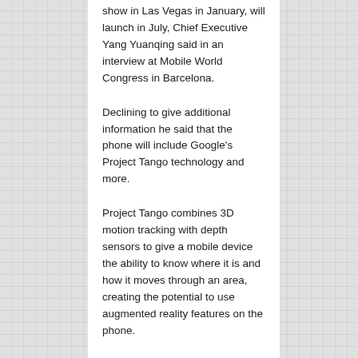show in Las Vegas in January, will launch in July, Chief Executive Yang Yuanqing said in an interview at Mobile World Congress in Barcelona.
Declining to give additional information he said that the phone will include Google's Project Tango technology and more.
Project Tango combines 3D motion tracking with depth sensors to give a mobile device the ability to know where it is and how it moves through an area, creating the potential to use augmented reality features on the phone.
Augmented reality software then overlays text or graphics on the real-life image. It differs from virtual reality, which seels to simulate real-world views.